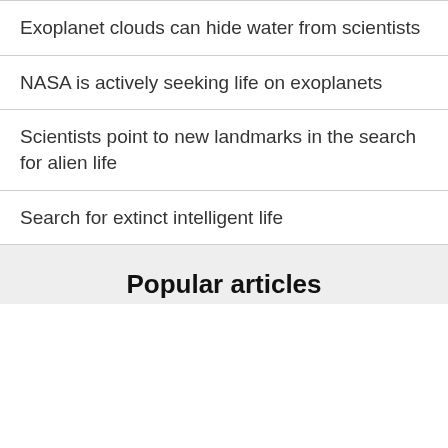Exoplanet clouds can hide water from scientists
NASA is actively seeking life on exoplanets
Scientists point to new landmarks in the search for alien life
Search for extinct intelligent life
Popular articles